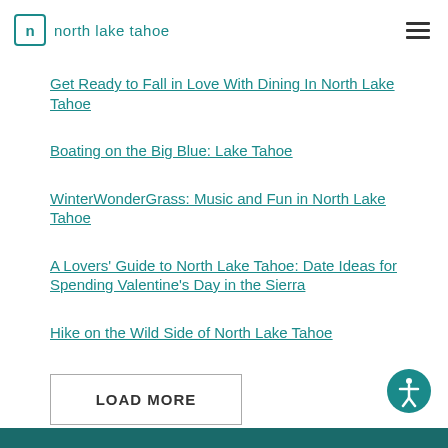north lake tahoe
Get Ready to Fall in Love With Dining In North Lake Tahoe
Boating on the Big Blue: Lake Tahoe
WinterWonderGrass: Music and Fun in North Lake Tahoe
A Lovers' Guide to North Lake Tahoe: Date Ideas for Spending Valentine's Day in the Sierra
Hike on the Wild Side of North Lake Tahoe
LOAD MORE